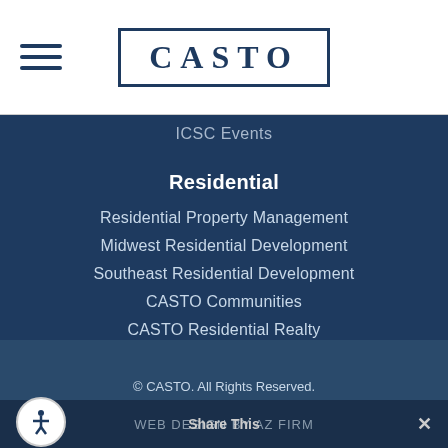CASTO
ICSC Events
Residential
Residential Property Management
Midwest Residential Development
Southeast Residential Development
CASTO Communities
CASTO Residential Realty
© CASTO. All Rights Reserved.
Terms & Conditions | Privacy Policy | ADA Compliance
Web Design by AZ FIRM